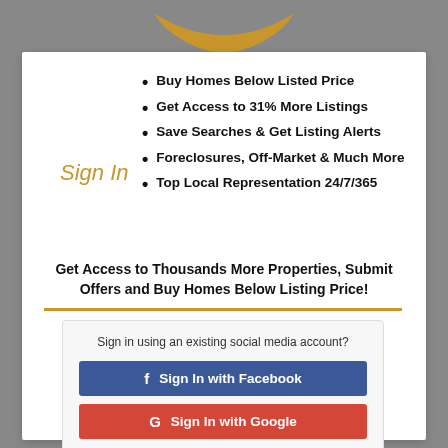[Figure (logo): Gold wing/bird logo at top center]
Sign In
Buy Homes Below Listed Price
Get Access to 31% More Listings
Save Searches & Get Listing Alerts
Foreclosures, Off-Market & Much More
Top Local Representation 24/7/365
Get Access to Thousands More Properties, Submit Offers and Buy Homes Below Listing Price!
Sign in using an existing social media account?
Sign In with Facebook
Sign In with Google